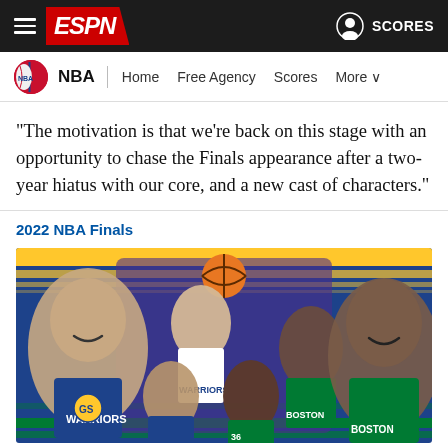ESPN - NBA navigation bar with hamburger menu, ESPN logo, user icon, and SCORES
NBA | Home  Free Agency  Scores  More
"The motivation is that we're back on this stage with an opportunity to chase the Finals appearance after a two-year hiatus with our core, and a new cast of characters."
2022 NBA Finals
[Figure (photo): Promotional image for the 2022 NBA Finals featuring Golden State Warriors players (Stephen Curry, Draymond Green, Klay Thompson) and Boston Celtics players (Jaylen Brown, Marcus Smart, Jayson Tatum) against a striped gold, blue, and green background]